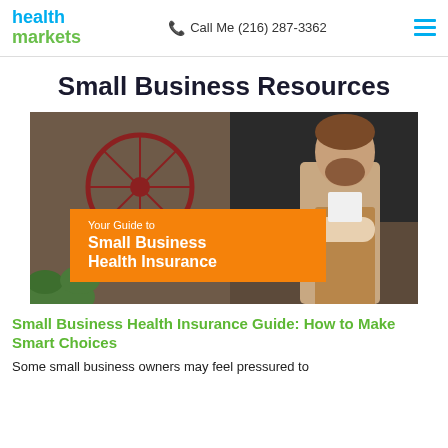health markets | Call Me (216) 287-3362
Small Business Resources
[Figure (photo): A bearded man in an apron standing with arms crossed in a small business/cafe setting, with a bicycle visible in the background. An orange banner overlay reads: Your Guide to Small Business Health Insurance]
Small Business Health Insurance Guide: How to Make Smart Choices
Some small business owners may feel pressured to